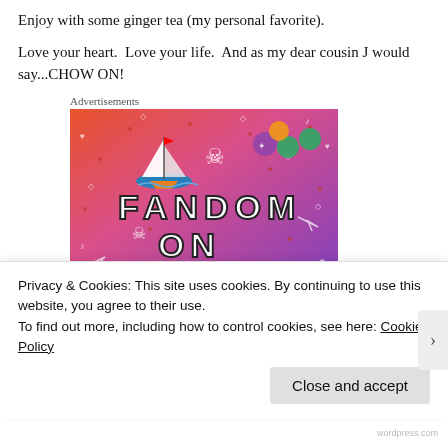Enjoy with some ginger tea (my personal favorite).
Love your heart.  Love your life.  And as my dear cousin J would say...CHOW ON!
Advertisements
[Figure (illustration): Tumblr Fandom On advertisement banner with colorful orange-to-purple gradient background, doodles, a sailboat sticker, skull icons, gem icons, and the text FANDOM ON tumblr in large bold letters]
Privacy & Cookies: This site uses cookies. By continuing to use this website, you agree to their use.
To find out more, including how to control cookies, see here: Cookie Policy